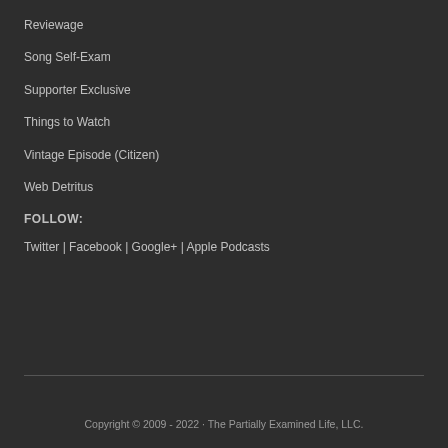Reviewage
Song Self-Exam
Supporter Exclusive
Things to Watch
Vintage Episode (Citizen)
Web Detritus
FOLLOW:
Twitter | Facebook | Google+ | Apple Podcasts
Copyright © 2009 - 2022 · The Partially Examined Life, LLC.